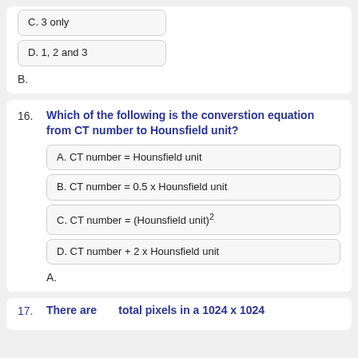C. 3 only
D. 1, 2 and 3
B.
16. Which of the following is the converstion equation from CT number to Hounsfield unit?
A. CT number = Hounsfield unit
B. CT number = 0.5 x Hounsfield unit
C. CT number = (Hounsfield unit)²
D. CT number + 2 x Hounsfield unit
A.
17. There are ___ total pixels in a 1024 x 1024